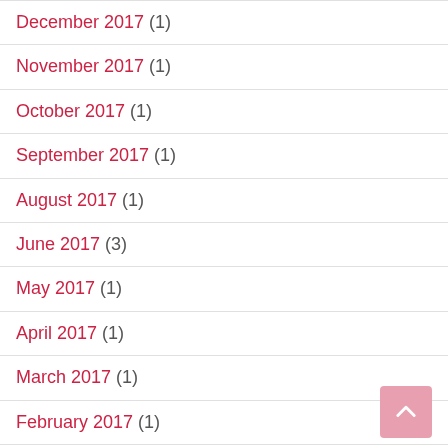December 2017 (1)
November 2017 (1)
October 2017 (1)
September 2017 (1)
August 2017 (1)
June 2017 (3)
May 2017 (1)
April 2017 (1)
March 2017 (1)
February 2017 (1)
January 2017 (2)
November 2016 (1)
October 2016 (2)